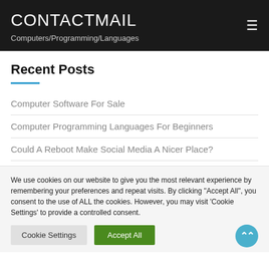CONTACTMAIL
Computers/Programming/Languages
Recent Posts
Computer Software For Sale
Computer Programming Languages For Beginners
Could A Reboot Make Social Media A Nicer Place?
We use cookies on our website to give you the most relevant experience by remembering your preferences and repeat visits. By clicking "Accept All", you consent to the use of ALL the cookies. However, you may visit 'Cookie Settings' to provide a controlled consent.